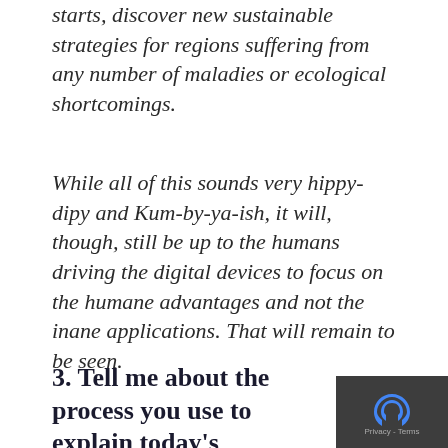starts, discover new sustainable strategies for regions suffering from any number of maladies or ecological shortcomings.
While all of this sounds very hippy-dipy and Kum-by-ya-ish, it will, though, still be up to the humans driving the digital devices to focus on the humane advantages and not the inane applications. That will remain to be seen.
3. Tell me about the process you use to explain today's communication techniques